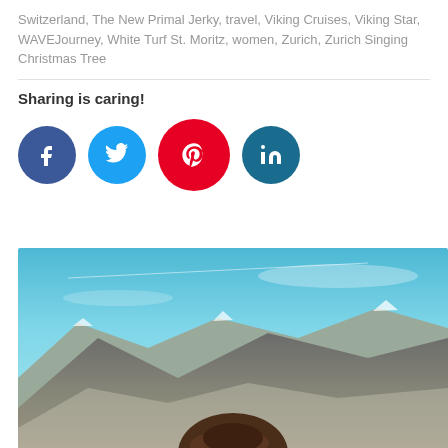Switzerland, The New Primal Jerky, travel, Viking Cruises, Viking Star, WAVEJourney, White Turf St. Moritz, women, Zurich, Zurich Singing Christmas Tree
Sharing is caring!
[Figure (other): Social sharing buttons: Facebook (dark blue circle with f), Twitter (light blue circle with bird), Pinterest (red circle with P), LinkedIn (dark teal circle with in)]
[Figure (photo): A selfie photo of a person with brown hair against a dramatic Alpine mountain backdrop with snow-capped peaks and a blue sky with light clouds.]